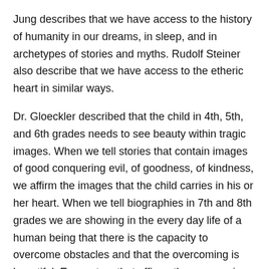Jung describes that we have access to the history of humanity in our dreams, in sleep, and in archetypes of stories and myths. Rudolf Steiner also describe that we have access to the etheric heart in similar ways.
Dr. Gloeckler described that the child in 4th, 5th, and 6th grades needs to see beauty within tragic images. When we tell stories that contain images of good conquering evil, of goodness, of kindness, we affirm the images that the child carries in his or her heart. When we tell biographies in 7th and 8th grades we are showing in the every day life of a human being that there is the capacity to overcome obstacles and that the overcoming is beautiful. Every story that affirms the overcoming of obstacles gives the child strength.
The child experiences the model of the physical heart from the parents, and in adolescence the teenager is building the etheric heart.